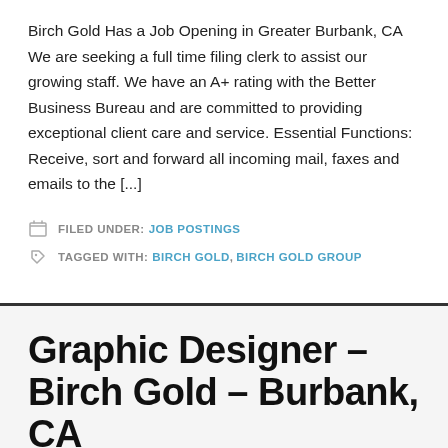Birch Gold Has a Job Opening in Greater Burbank, CA We are seeking a full time filing clerk to assist our growing staff. We have an A+ rating with the Better Business Bureau and are committed to providing exceptional client care and service. Essential Functions: Receive, sort and forward all incoming mail, faxes and emails to the [...]
FILED UNDER: JOB POSTINGS
TAGGED WITH: BIRCH GOLD, BIRCH GOLD GROUP
Graphic Designer – Birch Gold – Burbank, CA